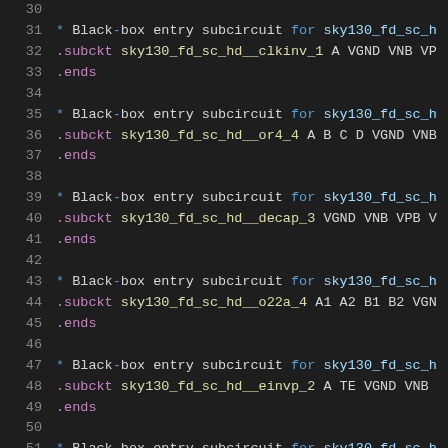30  (blank line)
31  * Black-box entry subcircuit for sky130_fd_sc_h
32  .subckt sky130_fd_sc_hd__clkinv_1 A VGND VNB VP
33  .ends
34  (blank line)
35  * Black-box entry subcircuit for sky130_fd_sc_h
36  .subckt sky130_fd_sc_hd__or4_4 A B C D VGND VNB
37  .ends
38  (blank line)
39  * Black-box entry subcircuit for sky130_fd_sc_h
40  .subckt sky130_fd_sc_hd__decap_3 VGND VNB VPB V
41  .ends
42  (blank line)
43  * Black-box entry subcircuit for sky130_fd_sc_h
44  .subckt sky130_fd_sc_hd__o22a_4 A1 A2 B1 B2 VGN
45  .ends
46  (blank line)
47  * Black-box entry subcircuit for sky130_fd_sc_h
48  .subckt sky130_fd_sc_hd__einvp_2 A TE VGND VNB
49  .ends
50  (blank line)
51  * Black-box entry subcircuit for sky130_fd_sc_h